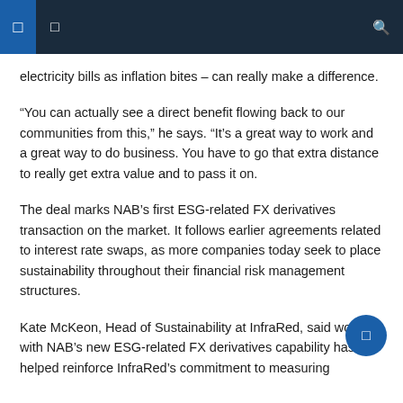Navigation bar with menu icons and search
electricity bills as inflation bites – can really make a difference.
“You can actually see a direct benefit flowing back to our communities from this,” he says. “It’s a great way to work and a great way to do business. You have to go that extra distance to really get extra value and to pass it on.
The deal marks NAB’s first ESG-related FX derivatives transaction on the market. It follows earlier agreements related to interest rate swaps, as more companies today seek to place sustainability throughout their financial risk management structures.
Kate McKeon, Head of Sustainability at InfraRed, said working with NAB’s new ESG-related FX derivatives capability has helped reinforce InfraRed’s commitment to measuring